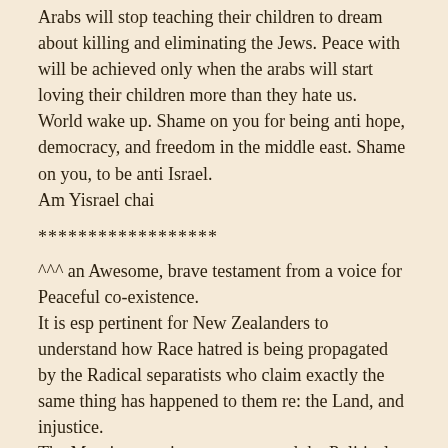Arabs will stop teaching their children to dream about killing and eliminating the Jews. Peace with will be achieved only when the arabs will start loving their children more than they hate us.
World wake up. Shame on you for being anti hope, democracy, and freedom in the middle east. Shame on you, to be anti Israel.
Am Yisrael chai
******************
^^^ an Awesome, brave testament from a voice for Peaceful co-existence.
It is esp pertinent for New Zealanders to understand how Race hatred is being propagated by the Radical separatists who claim exactly the same thing has happened to them re: the Land, and injustice.
The Maori separatist movement and the Political doctrine/line of its actors — which